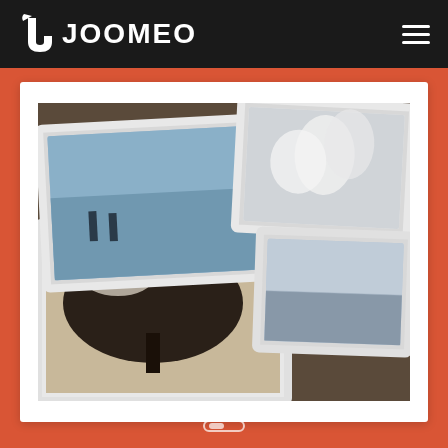JOOMEO
[Figure (photo): Multiple stacked printed photographs with white frames arranged on a dark surface, showing various landscape and nature images]